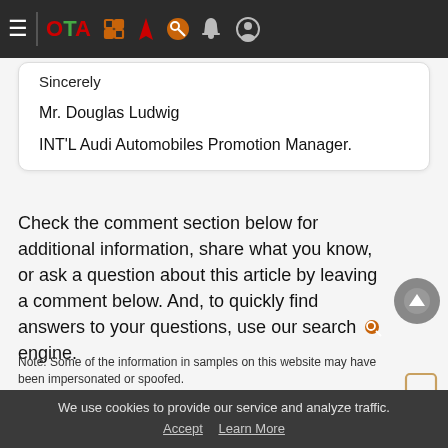OTA navigation bar
Sincerely

Mr. Douglas Ludwig

INT'L Audi Automobiles Promotion Manager.
Check the comment section below for additional information, share what you know, or ask a question about this article by leaving a comment below. And, to quickly find answers to your questions, use our search engine.
Note: Some of the information in samples on this website may have been impersonated or spoofed.
Was this article helpful?
Yes (1)   No (0)
We use cookies to provide our service and analyze traffic. Accept   Learn More